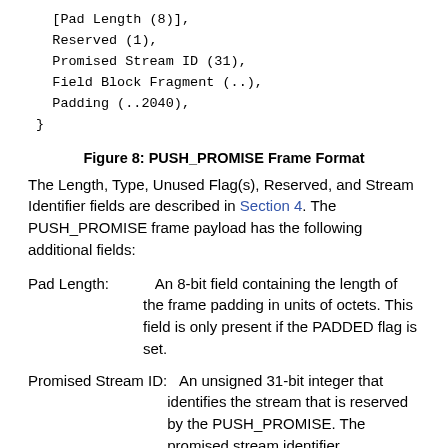[Pad Length (8)],
   Reserved (1),
   Promised Stream ID (31),
   Field Block Fragment (..),
   Padding (..2040),
}
Figure 8: PUSH_PROMISE Frame Format
The Length, Type, Unused Flag(s), Reserved, and Stream Identifier fields are described in Section 4. The PUSH_PROMISE frame payload has the following additional fields:
Pad Length:    An 8-bit field containing the length of the frame padding in units of octets. This field is only present if the PADDED flag is set.
Promised Stream ID:    An unsigned 31-bit integer that identifies the stream that is reserved by the PUSH_PROMISE. The promised stream identifier